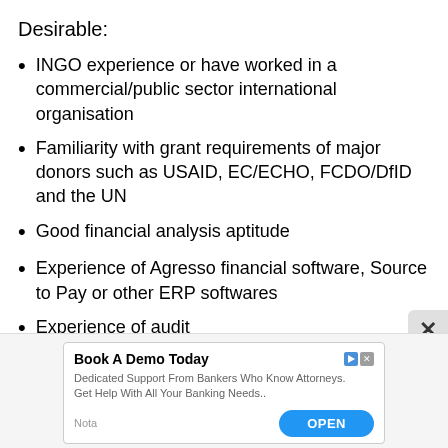Desirable:
INGO experience or have worked in a commercial/public sector international organisation
Familiarity with grant requirements of major donors such as USAID, EC/ECHO, FCDO/DfID and the UN
Good financial analysis aptitude
Experience of Agresso financial software, Source to Pay or other ERP softwares
Experience of audit
[Figure (screenshot): Advertisement banner: Book A Demo Today - Dedicated Support From Bankers Who Know Attorneys. Get Help With All Your Banking Needs. OPEN button. Nota label.]